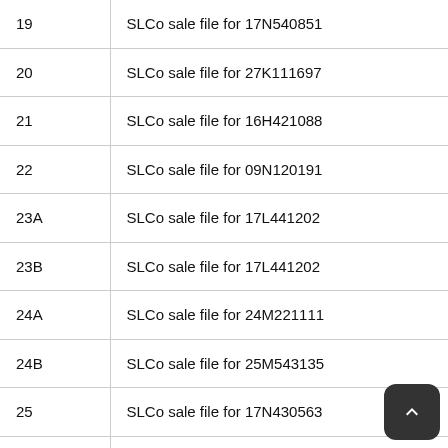| 19 | SLCo sale file for 17N540851 |
| 20 | SLCo sale file for 27K111697 |
| 21 | SLCo sale file for 16H421088 |
| 22 | SLCo sale file for 09N120191 |
| 23A | SLCo sale file for 17L441202 |
| 23B | SLCo sale file for 17L441202 |
| 24A | SLCo sale file for 24M221111 |
| 24B | SLCo sale file for 25M543135 |
| 25 | SLCo sale file for 17N430563 |
| 26 | Testimony of Patrick O'Connor |